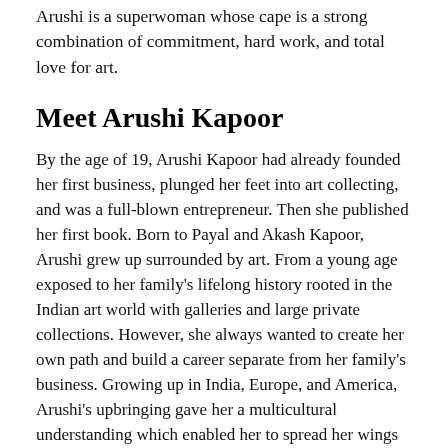Arushi is a superwoman whose cape is a strong combination of commitment, hard work, and total love for art.
Meet Arushi Kapoor
By the age of 19, Arushi Kapoor had already founded her first business, plunged her feet into art collecting, and was a full-blown entrepreneur. Then she published her first book. Born to Payal and Akash Kapoor, Arushi grew up surrounded by art. From a young age exposed to her family's lifelong history rooted in the Indian art world with galleries and large private collections. However, she always wanted to create her own path and build a career separate from her family's business. Growing up in India, Europe, and America, Arushi's upbringing gave her a multicultural understanding which enabled her to spread her wings much farther—pursue diverse worlds of collectors, art institutions, and other clients despite their background. She is furthermore one of the few West Coast living art dealers, who specialize in both